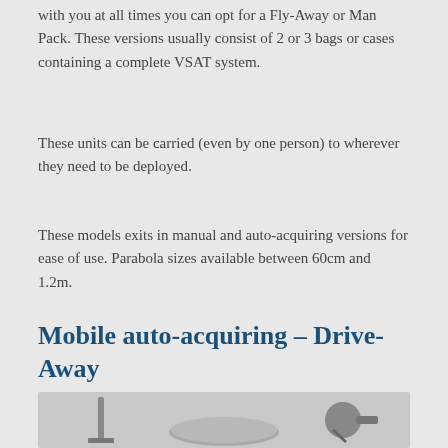with you at all times you can opt for a Fly-Away or Man Pack.  These versions usually consist of 2 or 3 bags or cases containing a complete VSAT system.
These units can be carried (even by one person) to wherever they need to be deployed.
These models exits in manual and auto-acquiring versions for ease of use.  Parabola sizes available between 60cm and 1.2m.
Mobile auto-acquiring – Drive-Away
[Figure (photo): Photo showing VSAT portable satellite equipment including a pole/stand, a parabolic dish, and a feed/LNB component]